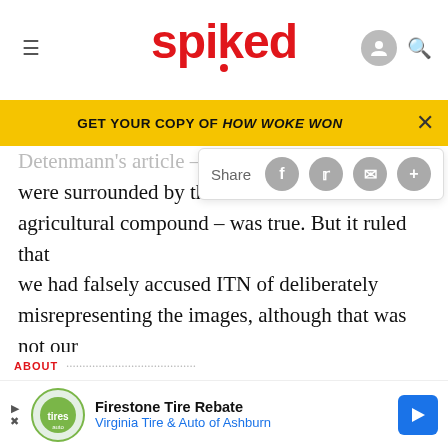spiked
GET YOUR COPY OF HOW WOKE WON
Detenmann's article – that it was surrounded by the barbed agricultural compound – was true. But it ruled that we had falsely accused ITN of deliberately misrepresenting the images, although that was not our intention and the d-word never appeared in the article. Libel defendants have to defend not only the words they used, but also possible interpretations that the court might place upon those words. (Those who want to know more about this old story can see Some c... can ABOUT
[Figure (screenshot): Advertisement banner: Firestone Tire Rebate, Virginia Tire & Auto of Ashburn]